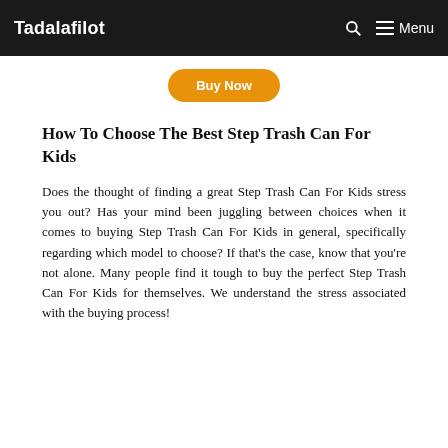Tadalafilot   Menu
[Figure (other): Orange 'Buy Now' button]
How To Choose The Best Step Trash Can For Kids
Does the thought of finding a great Step Trash Can For Kids stress you out? Has your mind been juggling between choices when it comes to buying Step Trash Can For Kids in general, specifically regarding which model to choose? If that's the case, know that you're not alone. Many people find it tough to buy the perfect Step Trash Can For Kids for themselves. We understand the stress associated with the buying process!